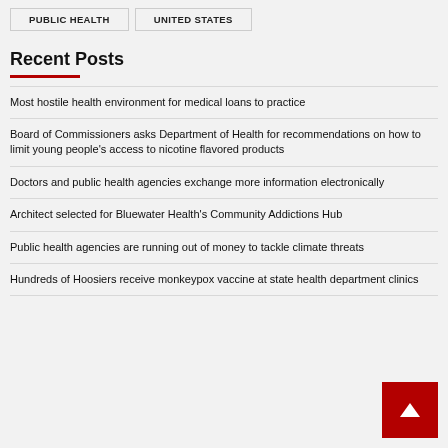PUBLIC HEALTH
UNITED STATES
Recent Posts
Most hostile health environment for medical loans to practice
Board of Commissioners asks Department of Health for recommendations on how to limit young people's access to nicotine flavored products
Doctors and public health agencies exchange more information electronically
Architect selected for Bluewater Health's Community Addictions Hub
Public health agencies are running out of money to tackle climate threats
Hundreds of Hoosiers receive monkeypox vaccine at state health department clinics